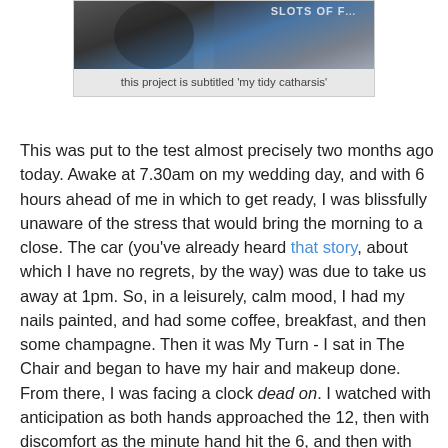[Figure (photo): Partial photo showing a person and a sign reading 'SLOTS OF F...' in black and white/blue tones]
this project is subtitled 'my tidy catharsis'
This was put to the test almost precisely two months ago today. Awake at 7.30am on my wedding day, and with 6 hours ahead of me in which to get ready, I was blissfully unaware of the stress that would bring the morning to a close. The car (you've already heard that story, about which I have no regrets, by the way) was due to take us away at 1pm. So, in a leisurely, calm mood, I had my nails painted, and had some coffee, breakfast, and then some champagne. Then it was My Turn - I sat in The Chair and began to have my hair and makeup done. From there, I was facing a clock dead on. I watched with anticipation as both hands approached the 12, then with discomfort as the minute hand hit the 6, and then with rising panic as it passed the 12 again, and passed the hour hand pointing at the 1.
Five minutes later my makeup girl finally gave me a Murray Walk... IO...GO GO!b...dd... strait...it...ll